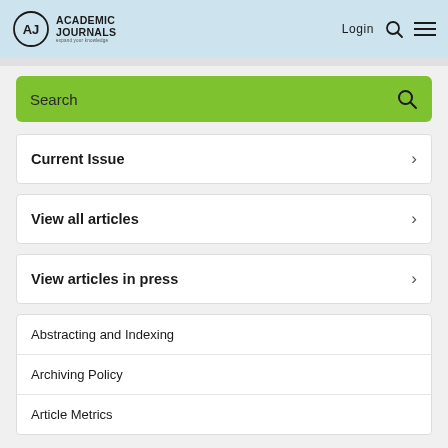[Figure (logo): Academic Journals logo with circle AJ icon and tagline 'expand your knowledge']
Login
Search
Current Issue
View all articles
View articles in press
Abstracting and Indexing
Archiving Policy
Article Metrics